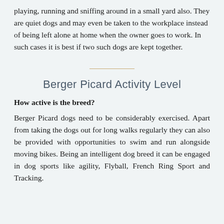playing, running and sniffing around in a small yard also. They are quiet dogs and may even be taken to the workplace instead of being left alone at home when the owner goes to work. In such cases it is best if two such dogs are kept together.
Berger Picard Activity Level
How active is the breed?
Berger Picard dogs need to be considerably exercised. Apart from taking the dogs out for long walks regularly they can also be provided with opportunities to swim and run alongside moving bikes. Being an intelligent dog breed it can be engaged in dog sports like agility, Flyball, French Ring Sport and Tracking.